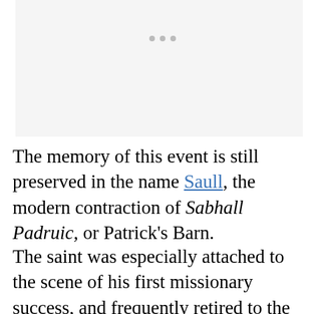[Figure (other): Blank or faded image placeholder area at top of page]
The memory of this event is still preserved in the name Saull, the modern contraction of Sabhall Padruic, or Patrick's Barn.
The saint was especially attached to the scene of his first missionary success, and frequently retired to the monastery which was established there later.